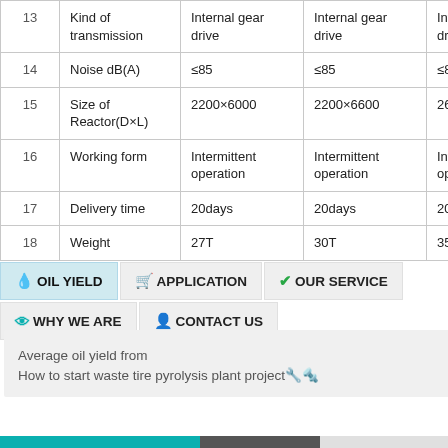| # | Parameter | Model A | Model B | Model C |
| --- | --- | --- | --- | --- |
| 13 | Kind of transmission | Internal gear drive | Internal gear drive | Internal gear drive |
| 14 | Noise dB(A) | ≤85 | ≤85 | ≤85 |
| 15 | Size of Reactor(D×L) | 2200×6000 | 2200×6600 | 2600×6600 |
| 16 | Working form | Intermittent operation | Intermittent operation | Intermittent operation |
| 17 | Delivery time | 20days | 20days | 20days |
| 18 | Weight | 27T | 30T | 35T |
OIL YIELD
APPLICATION
OUR SERVICE
WHY WE ARE
CONTACT US
Average oil yield from
How to start waste tire pyrolysis plant project